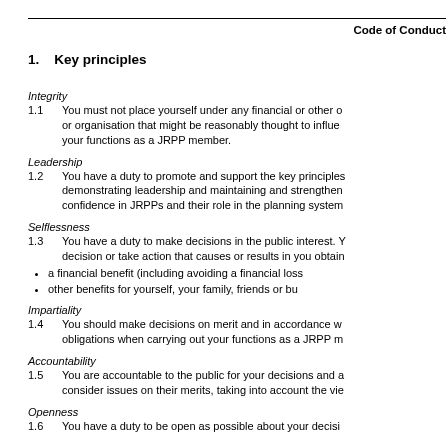Code of Conduct
1.   Key principles
Integrity
1.1    You must not place yourself under any financial or other obligation to any individual or organisation that might be reasonably thought to influence the performance of your functions as a JRPP member.
Leadership
1.2    You have a duty to promote and support the key principles by leadership and by demonstrating leadership and maintaining and strengthening the public's trust and confidence in JRPPs and their role in the planning system.
Selflessness
1.3    You have a duty to make decisions in the public interest. You must not make a decision or take action that causes or results in you obtaining:
a financial benefit (including avoiding a financial loss)
other benefits for yourself, your family, friends or business associates.
Impartiality
1.4    You should make decisions on merit and in accordance with your legal obligations when carrying out your functions as a JRPP member.
Accountability
1.5    You are accountable to the public for your decisions and actions. You must consider issues on their merits, taking into account the views of others.
Openness
1.6    You have a duty to be open as possible about your decisions.